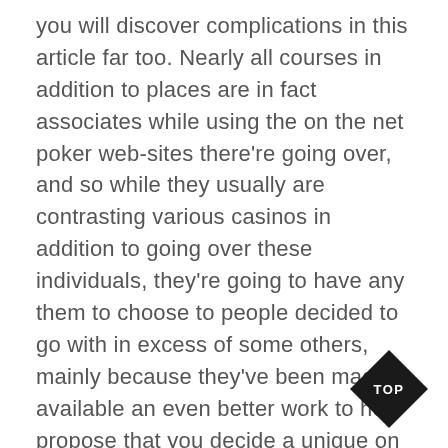you will discover complications in this article far too. Nearly all courses in addition to places are in fact associates while using the on the net poker web-sites there're going over, and so while they usually are contrasting various casinos in addition to going over these individuals, they're going to have any them to choose to people decided to go with in excess of some others, mainly because they've been made available an even better work to help propose that you decide a unique on the net poker web page. This reviews, typically outside of twenty or maybe all 5 personalities one example is, usually are fabricated to help indicate the recommended decision and for that reason objectively usually are fully unreadable. The way best to opt for a on the net gambling b… subsequently while using the complications conn…ed
[Figure (other): Black diamond-shaped badge with 'TOP' text in white, positioned at bottom right corner]